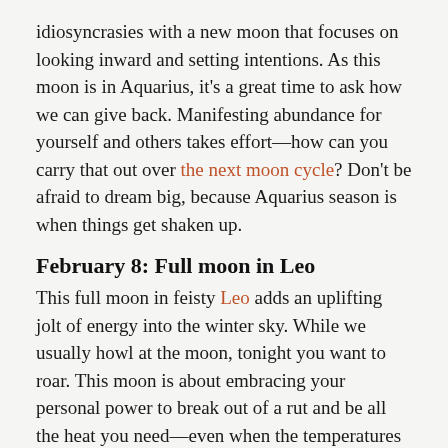idiosyncrasies with a new moon that focuses on looking inward and setting intentions. As this moon is in Aquarius, it's a great time to ask how we can give back. Manifesting abundance for yourself and others takes effort—how can you carry that out over the next moon cycle? Don't be afraid to dream big, because Aquarius season is when things get shaken up.
February 8: Full moon in Leo
This full moon in feisty Leo adds an uplifting jolt of energy into the winter sky. While we usually howl at the moon, tonight you want to roar. This moon is about embracing your personal power to break out of a rut and be all the heat you need—even when the temperatures have dropped. The Leo full moon shines a light on our personal magnetism, so don't be surprised if you attract attention.
February 16: Mercury retrograde in Pisces (ends March 9)
The first Mercury retrograde of the year can throw you (and